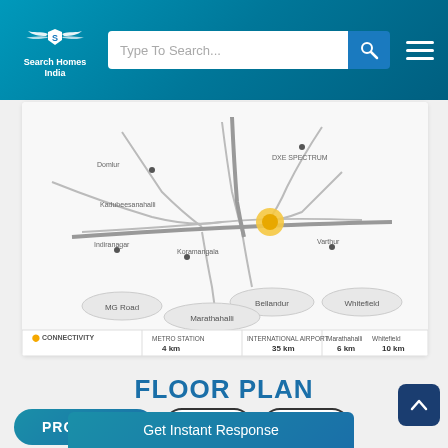[Figure (logo): Search Homes India logo with wings and shield emblem on teal gradient header]
[Figure (map): Location connectivity map showing roads and distances to nearby areas including AWHO, Shivanaager, Marathahalli, Whitefield, and other landmarks with a highlighted project location]
FLOOR PLAN
PROPERTY
2 BHK
3 BHK
Get Instant Response